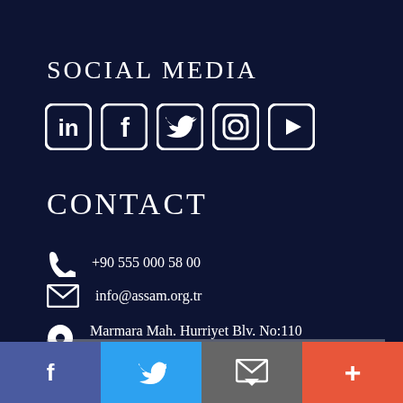SOCIAL MEDIA
[Figure (illustration): Social media icons: LinkedIn, Facebook, Twitter, Instagram, YouTube — white outlined rounded square icons]
CONTACT
+90 555 000 58 00
info@assam.org.tr
Marmara Mah. Hurriyet Blv. No:110 Beylikduzu/Istanbul
Facebook | Twitter | Email | Plus — social share footer bar